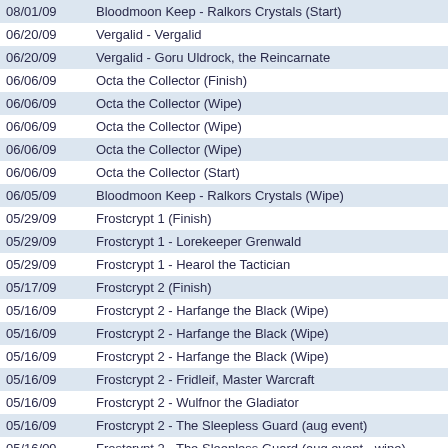| Date | Event |  |
| --- | --- | --- |
| 08/01/09 | Bloodmoon Keep - Ralkors Crystals (Start) |  |
| 06/20/09 | Vergalid - Vergalid |  |
| 06/20/09 | Vergalid - Goru Uldrock, the Reincarnate |  |
| 06/06/09 | Octa the Collector (Finish) |  |
| 06/06/09 | Octa the Collector (Wipe) |  |
| 06/06/09 | Octa the Collector (Wipe) |  |
| 06/06/09 | Octa the Collector (Wipe) |  |
| 06/06/09 | Octa the Collector (Start) |  |
| 06/05/09 | Bloodmoon Keep - Ralkors Crystals (Wipe) |  |
| 05/29/09 | Frostcrypt 1 (Finish) |  |
| 05/29/09 | Frostcrypt 1 - Lorekeeper Grenwald |  |
| 05/29/09 | Frostcrypt 1 - Hearol the Tactician |  |
| 05/17/09 | Frostcrypt 2 (Finish) |  |
| 05/16/09 | Frostcrypt 2 - Harfange the Black (Wipe) |  |
| 05/16/09 | Frostcrypt 2 - Harfange the Black (Wipe) |  |
| 05/16/09 | Frostcrypt 2 - Harfange the Black (Wipe) |  |
| 05/16/09 | Frostcrypt 2 - Fridleif, Master Warcraft |  |
| 05/16/09 | Frostcrypt 2 - Wulfnor the Gladiator |  |
| 05/16/09 | Frostcrypt 2 - The Sleepless Guard (aug event) |  |
| 05/16/09 | Frostcrypt 2 - The Sleepless Guard (aug event - wipe) |  |
| 05/16/09 | Frostcrypt 2 (Start) |  |
| 05/16/09 | Frostcrypt 1 (Finish) |  |
| 05/16/09 | Frostcrypt 1 - Lorekeeper Grenwald |  |
| 05/15/09 | Frostcrypt 1 - Lorekeeper Grenwald (Wipe) |  |
| 05/15/09 | Frostcrypt 1 - Hearol the Tactician |  |
| 05/15/09 | Frostcrypt 1 - Shades of Calm (aug event) |  |
| 05/15/09 | Frostcrypt 1 - Shades of Calm (aug event - wipe) |  |